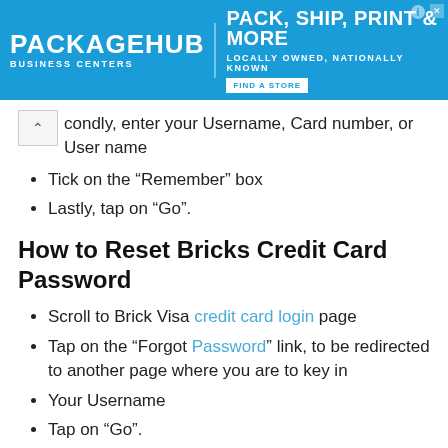[Figure (other): PackageHub Business Centers advertisement banner. Blue background with white text: PACKAGEHUB BUSINESS CENTERS, PACK, SHIP, PRINT & MORE, LOCALLY OWNED, NATIONALLY KNOWN, FIND A STORE button.]
condly, enter your Username, Card number, or User name
Tick on the “Remember” box
Lastly, tap on “Go”.
How to Reset Bricks Credit Card Password
Scroll to Brick Visa credit card login page
Tap on the “Forgot Password” link, to be redirected to another page where you are to key in
Your Username
Tap on “Go”.
Username